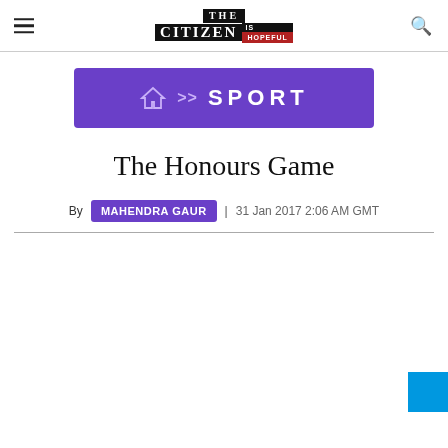THE CITIZEN IS HOPEFUL — navigation header with hamburger menu and search icon
[Figure (illustration): Purple breadcrumb banner with home icon, >> arrows, and SPORT text in white on purple background]
The Honours Game
By MAHENDRA GAUR | 31 Jan 2017 2:06 AM GMT
[Figure (other): Blue square widget in bottom-right corner]